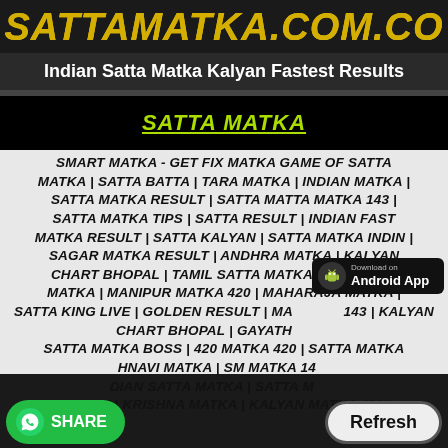SATTAMATKA.COM.CO
Indian Satta Matka Kalyan Fastest Results
SATTA MATKA
SMART MATKA - GET FIX MATKA GAME OF SATTA MATKA | SATTA BATTA | TARA MATKA | INDIAN MATKA | SATTA MATKA RESULT | SATTA MATTA MATKA 143 | SATTA MATKA TIPS | SATTA RESULT | INDIAN FAST MATKA RESULT | SATTA KALYAN | SATTA MATKA INDIN | SAGAR MATKA RESULT | ANDHRA MATKA | KALYAN CHART BHOPAL | TAMIL SATTA MATKA | MIRZAPUR MATKA | MANIPUR MATKA 420 | MAHARAJA MATKA | SATTA KING LIVE | GOLDEN RESULT | MA... 143 | KALYAN CHART BHOPAL | GAYATH... SATTA MATKA BOSS | 420 MATKA 420 | SATTA MATKA ...HNAVI MATKA | SM MATKA 14... ...DIAN SATTA MATKA | SATTA M... RESULT | KRISHNA MATKA | KALYAN MATKA 420 |
[Figure (logo): Android App download badge]
[Figure (logo): WhatsApp Share button]
Refresh